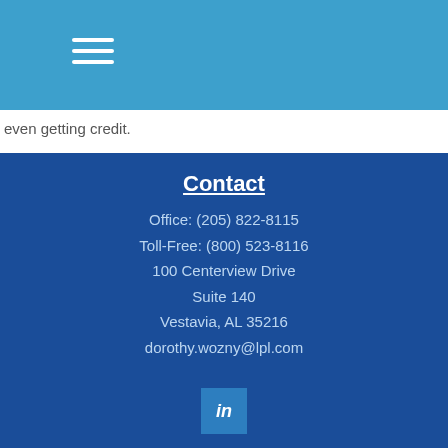even getting credit.
Contact
Office: (205) 822-8115
Toll-Free: (800) 523-8116
100 Centerview Drive
Suite 140
Vestavia, AL 35216
dorothy.wozny@lpl.com
[Figure (logo): LinkedIn logo icon in a blue square]
Quick Links
Retirement
Investment
Estate